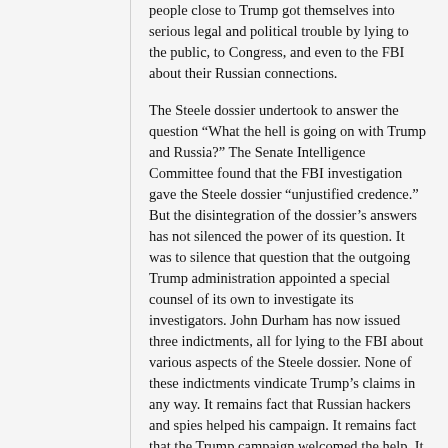people close to Trump got themselves into serious legal and political trouble by lying to the public, to Congress, and even to the FBI about their Russian connections.
The Steele dossier undertook to answer the question “What the hell is going on with Trump and Russia?” The Senate Intelligence Committee found that the FBI investigation gave the Steele dossier “unjustified credence.” But the disintegration of the dossier’s answers has not silenced the power of its question. It was to silence that question that the outgoing Trump administration appointed a special counsel of its own to investigate its investigators. John Durham has now issued three indictments, all for lying to the FBI about various aspects of the Steele dossier. None of these indictments vindicate Trump’s claims in any way. It remains fact that Russian hackers and spies helped his campaign. It remains fact that the Trump campaign welcomed the help. It remains fact that Trump’s campaign chairman sought to share proprietary campaign